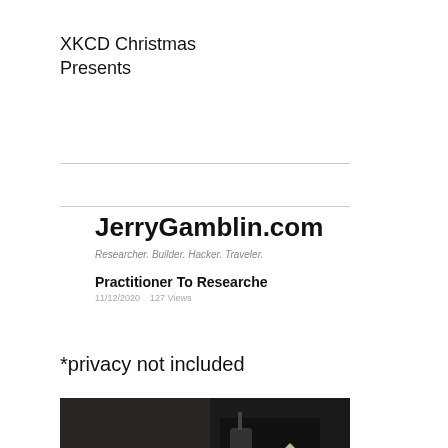XKCD Christmas Presents
[Figure (screenshot): Screenshot of JerryGamblin.com website showing site name, tagline 'Researcher. Builder. Hacker. Traveler.' and article title 'Practitioner To Researche' with date 11/12/2020 and 127 Views]
*privacy not included
[Figure (photo): Photo of an older man in an orange jumpsuit with a law enforcement officer in uniform behind him, appearing to be in a courtroom setting]